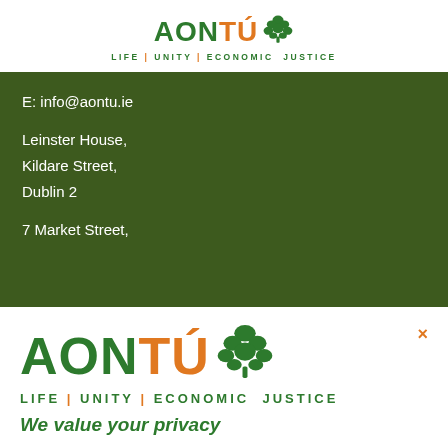[Figure (logo): Aontú logo with tree icon and tagline LIFE | UNITY | ECONOMIC JUSTICE, green and orange colors]
E: info@aontu.ie
Leinster House,
Kildare Street,
Dublin 2
7 Market Street,
[Figure (logo): Aontú logo large with tree icon and tagline LIFE | UNITY | ECONOMIC JUSTICE, green and orange colors, with close X button]
We value your privacy